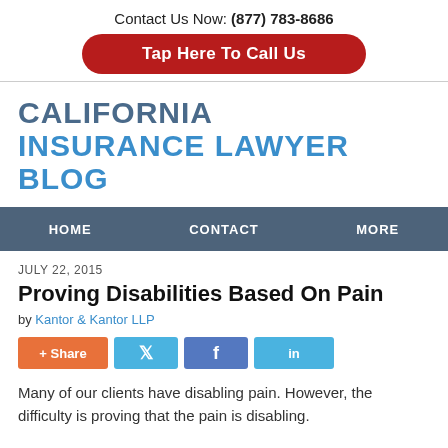Contact Us Now: (877) 783-8686
[Figure (other): Red rounded button with white bold text: Tap Here To Call Us]
CALIFORNIA INSURANCE LAWYER BLOG
HOME   CONTACT   MORE
JULY 22, 2015
Proving Disabilities Based On Pain
by Kantor & Kantor LLP
[Figure (other): Social share buttons: + Share, Twitter, Facebook, LinkedIn]
Many of our clients have disabling pain. However, the difficulty is proving that the pain is disabling.